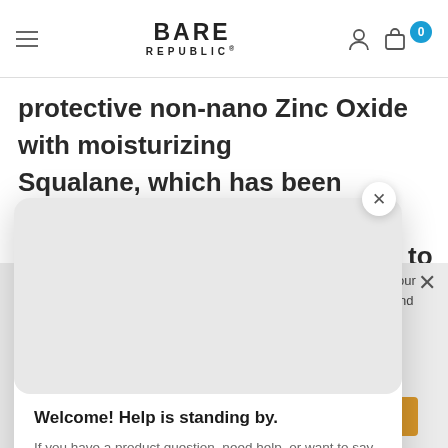BARE REPUBLIC
protective non-nano Zinc Oxide with moisturizing Squalane, which has been clinically shown to [support] to baby's natural [skin] ndula, Olive, and [keep] y's skin soft, [hashtag]REOUTSIDE
[Figure (screenshot): Chat help popup with gray image area, welcome message, description text, and orange 'Got It' button]
Welcome! Help is standing by.
If you have a product question, need help, or want to say "Hi," click the chat icon in the bottom-right corner.
Got It
rience on our ation. To find policy and
ACCEPT COOKIES